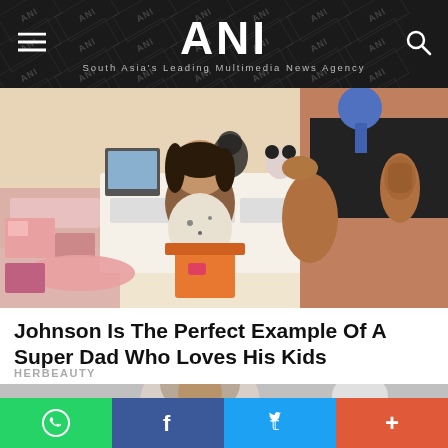ANI – South Asia's Leading Multimedia News Agency
[Figure (photo): A muscular man in a black t-shirt doing a child's hair, with toys and pink furniture in the background]
Johnson Is The Perfect Example Of A Super Dad Who Loves His Kids
HERBEAUTY
[Figure (photo): Partially visible photo of people including a child with glasses and an elderly person]
[Figure (infographic): Bottom social share bar with WhatsApp, Facebook, Twitter, and more buttons]